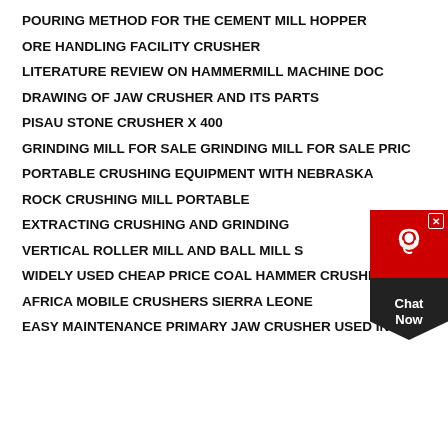POURING METHOD FOR THE CEMENT MILL HOPPER
ORE HANDLING FACILITY CRUSHER
LITERATURE REVIEW ON HAMMERMILL MACHINE DOC
DRAWING OF JAW CRUSHER AND ITS PARTS
PISAU STONE CRUSHER X 400
GRINDING MILL FOR SALE GRINDING MILL FOR SALE PRIC
PORTABLE CRUSHING EQUIPMENT WITH NEBRASKA
ROCK CRUSHING MILL PORTABLE
EXTRACTING CRUSHING AND GRINDING
VERTICAL ROLLER MILL AND BALL MILL S
WIDELY USED CHEAP PRICE COAL HAMMER CRUSHER
AFRICA MOBILE CRUSHERS SIERRA LEONE
EASY MAINTENANCE PRIMARY JAW CRUSHER USED IN